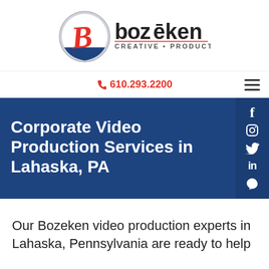[Figure (logo): Bozeken Creative Production logo with stylized B in oval and wordmark]
📞 610.293.2200
Corporate Video Production Services in Lahaska, PA
Our Bozeken video production experts in Lahaska, Pennsylvania are ready to help